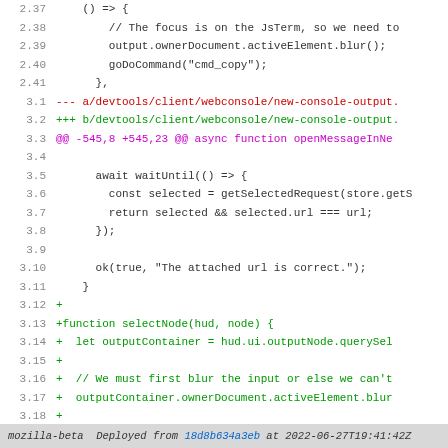[Figure (screenshot): Code diff view showing a Git patch for devtools/client/webconsole/new-console-output with line numbers, removed lines in red, added lines in green, and diff headers in magenta.]
mozilla-beta  Deployed from 18d8b634a3eb at 2022-06-27T19:41:42Z